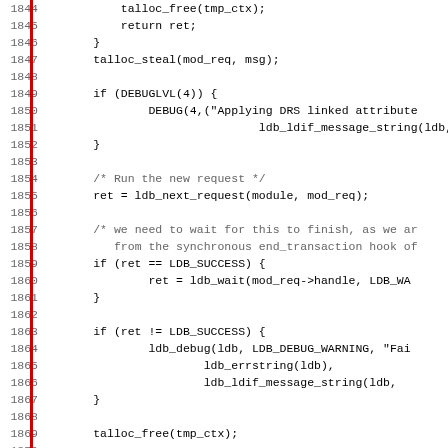[Figure (other): Source code listing in C, lines 1844-1875, showing talloc/ldb function calls with red vertical bar on left margin]